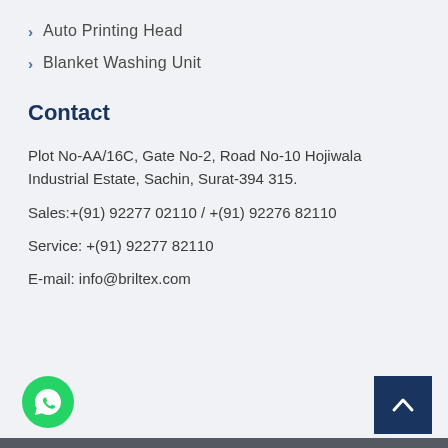Auto Printing Head
Blanket Washing Unit
Contact
Plot No-AA/16C, Gate No-2, Road No-10 Hojiwala Industrial Estate, Sachin, Surat-394 315.
Sales:+(91) 92277 02110 / +(91) 92276 82110
Service: +(91) 92277 82110
E-mail: info@briltex.com
[Figure (logo): WhatsApp icon button (green circle with phone icon)]
[Figure (other): Scroll-to-top button (dark navy blue square with upward chevron arrow)]